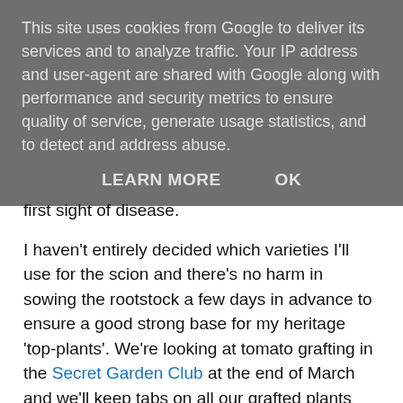This site uses cookies from Google to deliver its services and to analyze traffic. Your IP address and user-agent are shared with Google along with performance and security metrics to ensure quality of service, generate usage statistics, and to detect and address abuse.
LEARN MORE   OK
first sight of disease.
I haven't entirely decided which varieties I'll use for the scion and there's no harm in sowing the rootstock a few days in advance to ensure a good strong base for my heritage 'top-plants'. We're looking at tomato grafting in the Secret Garden Club at the end of March and we'll keep tabs on all our grafted plants and how they do throughout the summer.
[Figure (photo): Close-up photograph of green plant stems and leaves, likely tomato plants, outdoors with greenery in background]